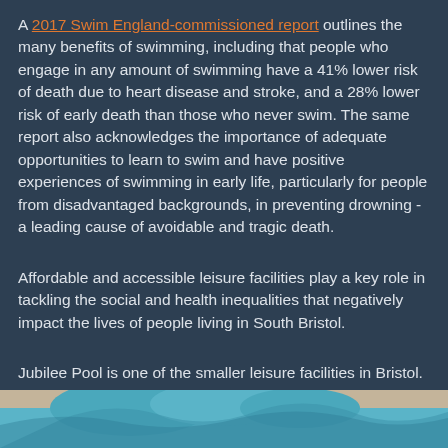A 2017 Swim England-commissioned report outlines the many benefits of swimming, including that people who engage in any amount of swimming have a 41% lower risk of death due to heart disease and stroke, and a 28% lower risk of early death than those who never swim. The same report also acknowledges the importance of adequate opportunities to learn to swim and have positive experiences of swimming in early life, particularly for people from disadvantaged backgrounds, in preventing drowning - a leading cause of avoidable and tragic death.
Affordable and accessible leisure facilities play a key role in tackling the social and health inequalities that negatively impact the lives of people living in South Bristol.
Jubilee Pool is one of the smaller leisure facilities in Bristol. This attracts people who value its size and whose personal circumstances render other larger pools - such as Hengrove Park Leisure Centre - inaccessible.
[Figure (photo): Bottom strip showing a partial view of a swimming pool with blue water and wave shapes, beige/sandy background]